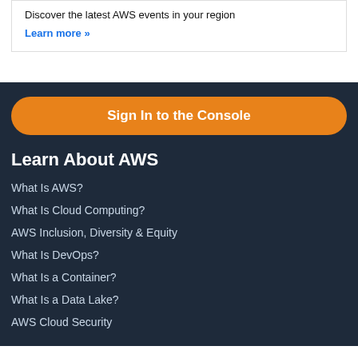Discover the latest AWS events in your region
Learn more »
Sign In to the Console
Learn About AWS
What Is AWS?
What Is Cloud Computing?
AWS Inclusion, Diversity & Equity
What Is DevOps?
What Is a Container?
What Is a Data Lake?
AWS Cloud Security